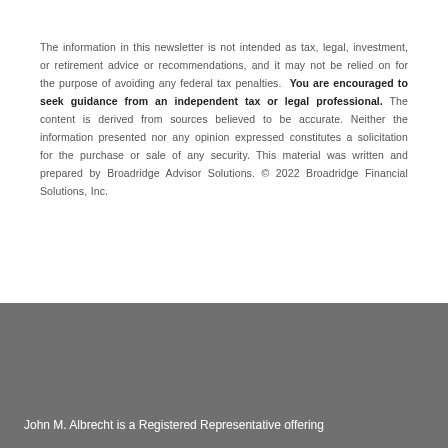The information in this newsletter is not intended as tax, legal, investment, or retirement advice or recommendations, and it may not be relied on for the purpose of avoiding any federal tax penalties. You are encouraged to seek guidance from an independent tax or legal professional. The content is derived from sources believed to be accurate. Neither the information presented nor any opinion expressed constitutes a solicitation for the purchase or sale of any security. This material was written and prepared by Broadridge Advisor Solutions. © 2022 Broadridge Financial Solutions, Inc.
John M. Albrecht is a Registered Representative offering